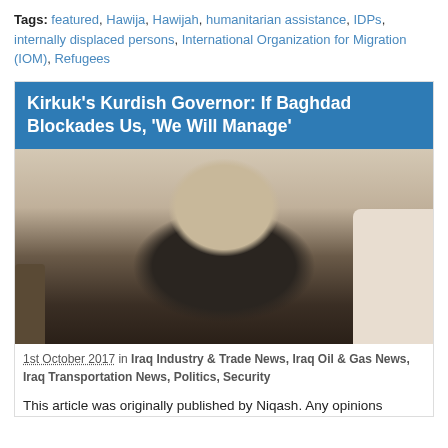Tags: featured, Hawija, Hawijah, humanitarian assistance, IDPs, internally displaced persons, International Organization for Migration (IOM), Refugees
Kirkuk's Kurdish Governor: If Baghdad Blockades Us, 'We Will Manage'
[Figure (photo): Photo of an elderly man in a dark suit seated in a white ornate chair, appearing to be in an interview setting]
1st October 2017 in Iraq Industry & Trade News, Iraq Oil & Gas News, Iraq Transportation News, Politics, Security
This article was originally published by Niqash. Any opinions